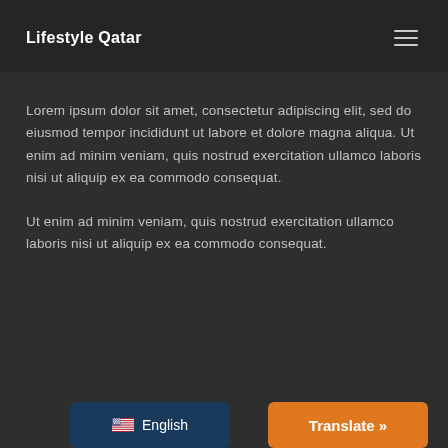Lifestyle Qatar
Lorem ipsum dolor sit amet, consectetur adipiscing elit, sed do eiusmod tempor incididunt ut labore et dolore magna aliqua. Ut enim ad minim veniam, quis nostrud exercitation ullamco laboris nisi ut aliquip ex ea commodo consequat.
Ut enim ad minim veniam, quis nostrud exercitation ullamco laboris nisi ut aliquip ex ea commodo consequat.
English  |  Translate »